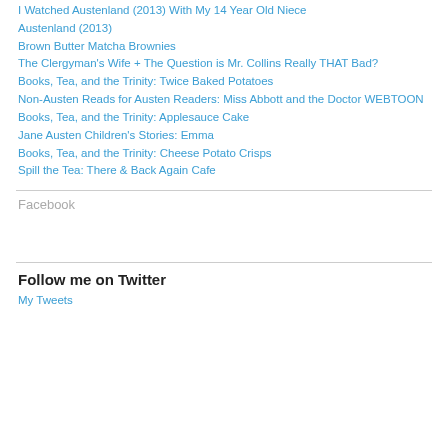I Watched Austenland (2013) With My 14 Year Old Niece
Austenland (2013)
Brown Butter Matcha Brownies
The Clergyman's Wife + The Question is Mr. Collins Really THAT Bad?
Books, Tea, and the Trinity: Twice Baked Potatoes
Non-Austen Reads for Austen Readers: Miss Abbott and the Doctor WEBTOON
Books, Tea, and the Trinity: Applesauce Cake
Jane Austen Children's Stories: Emma
Books, Tea, and the Trinity: Cheese Potato Crisps
Spill the Tea: There & Back Again Cafe
Facebook
Follow me on Twitter
My Tweets